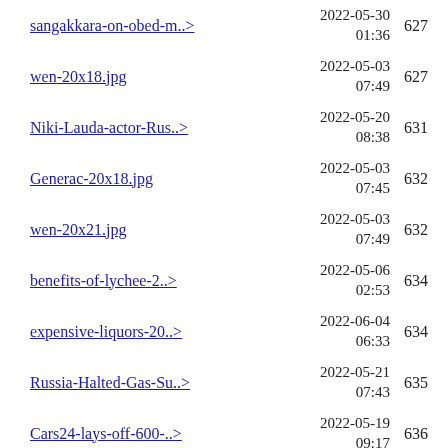sangakkara-on-obed-m..> | 2022-05-30 01:36 | 627
wen-20x18.jpg | 2022-05-03 07:49 | 627
Niki-Lauda-actor-Rus..> | 2022-05-20 08:38 | 631
Generac-20x18.jpg | 2022-05-03 07:45 | 632
wen-20x21.jpg | 2022-05-03 07:49 | 632
benefits-of-lychee-2..> | 2022-05-06 02:53 | 634
expensive-liquors-20..> | 2022-06-04 06:33 | 634
Russia-Halted-Gas-Su..> | 2022-05-21 07:43 | 635
Cars24-lays-off-600-..> | 2022-05-19 09:17 | 636
jackfruit-benefits-2..> | 2022-05-07 01:44 | 637
Generac-20x21.jpg | 2022-05-03 07:45 | 638